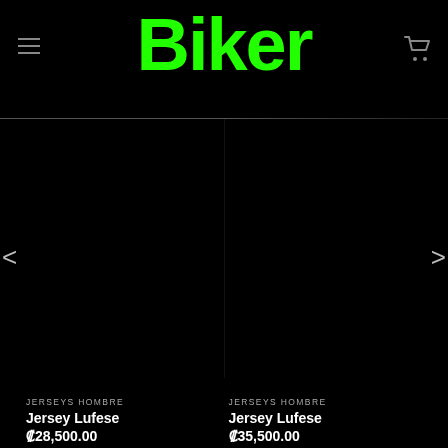Biker
[Figure (screenshot): Product carousel showing two 'Jersey Lufese' items from JERSEYS HOMBRE category. Left product priced at ₡28,500.00, right product priced at ₡35,500.00. Both product images are dark/black. Navigation arrows on left and right sides.]
JERSEYS HOMBRE
Jersey Lufese
₡28,500.00
JERSEYS HOMBRE
Jersey Lufese
₡35,500.00